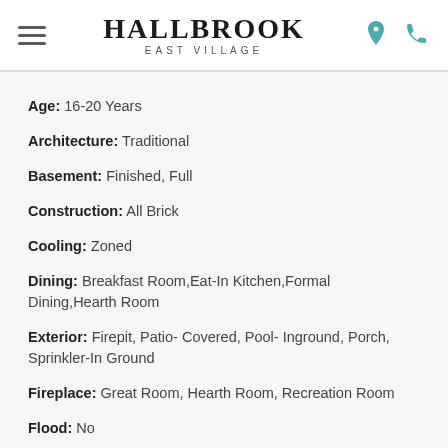Hallbrook East Village
Age: 16-20 Years
Architecture: Traditional
Basement: Finished, Full
Construction: All Brick
Cooling: Zoned
Dining: Breakfast Room,Eat-In Kitchen,Formal Dining,Hearth Room
Exterior: Firepit, Patio- Covered, Pool- Inground, Porch, Sprinkler-In Ground
Fireplace: Great Room, Hearth Room, Recreation Room
Flood: No